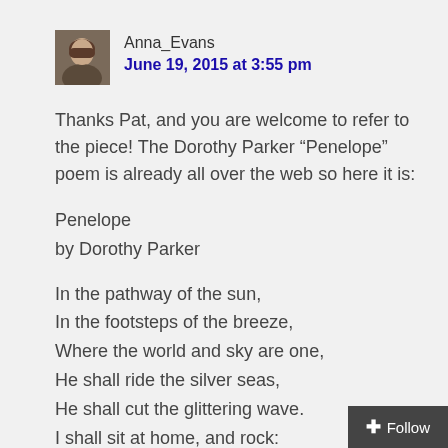[Figure (photo): Small square avatar photo of Anna_Evans, a woman with short hair]
Anna_Evans
June 19, 2015 at 3:55 pm
Thanks Pat, and you are welcome to refer to the piece! The Dorothy Parker “Penelope” poem is already all over the web so here it is:
Penelope
by Dorothy Parker
In the pathway of the sun,
In the footsteps of the breeze,
Where the world and sky are one,
He shall ride the silver seas,
He shall cut the glittering wave.
I shall sit at home, and rock: